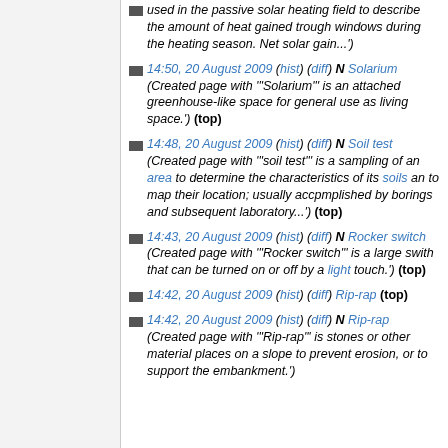used in the passive solar heating field to describe the amount of heat gained trough windows during the heating season. Net solar gain...')
14:50, 20 August 2009 (hist) (diff) N Solarium (Created page with '"Solarium" is an attached greenhouse-like space for general use as living space.') (top)
14:48, 20 August 2009 (hist) (diff) N Soil test (Created page with '"soil test" is a sampling of an area to determine the characteristics of its soils an to map their location; usually accpmplished by borings and subsequent laboratory...') (top)
14:43, 20 August 2009 (hist) (diff) N Rocker switch (Created page with '"Rocker switch" is a large swith that can be turned on or off by a light touch.') (top)
14:42, 20 August 2009 (hist) (diff) Rip-rap (top)
14:42, 20 August 2009 (hist) (diff) N Rip-rap (Created page with '"Rip-rap" is stones or other material places on a slope to prevent erosion, or to support the embankment.')